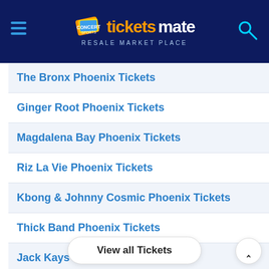TicketsMate Resale Market Place
The Bronx Phoenix Tickets
Ginger Root Phoenix Tickets
Magdalena Bay Phoenix Tickets
Riz La Vie Phoenix Tickets
Kbong & Johnny Cosmic Phoenix Tickets
Thick Band Phoenix Tickets
Jack Kays Phoenix Tickets
Maude Latour Phoenix Tickets
Blacklips Phoenix Tickets
Lizzy Mcalpine Phoenix Tickets
Sick of It Pho...
Agnostic Front Phoenix Tickets